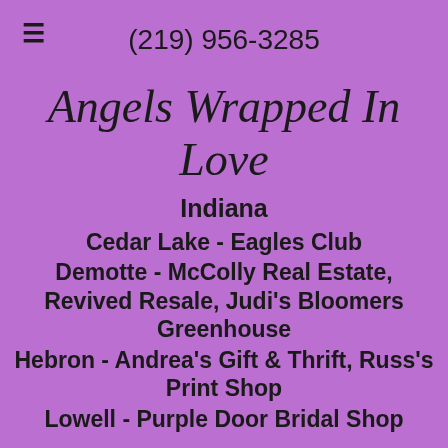(219) 956-3285
Angels Wrapped In Love
Indiana
Cedar Lake - Eagles Club
Demotte - McColly Real Estate, Revived Resale, Judi's Bloomers Greenhouse
Hebron - Andrea's Gift & Thrift, Russ's Print Shop
Lowell - Purple Door Bridal Shop